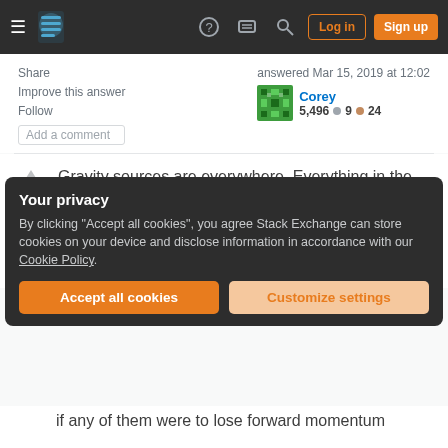Stack Exchange navigation bar with hamburger menu, logo, help, chat, search icons, Log in and Sign up buttons
Share   Improve this answer   Follow   Add a comment
answered Mar 15, 2019 at 12:02
Corey
5,496  ● 9  ● 24
Gravity sources are everywhere. Everything in the galaxy is attracting everything else. The only reason the satellites in space don't come crashing down is because they are traveling fast enough to keep missing the Earth.
Your privacy
By clicking "Accept all cookies", you agree Stack Exchange can store cookies on your device and disclose information in accordance with our Cookie Policy.
Accept all cookies   Customize settings
if any of them were to lose forward momentum